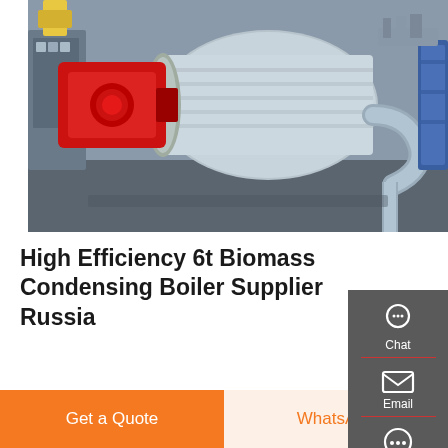[Figure (photo): Industrial biomass condensing boiler system showing a large cylindrical boiler with red burner head, metallic pipes, flanges, and auxiliary equipment in an industrial setting]
High Efficiency 6t Biomass Condensing Boiler Supplier Russia
[Figure (infographic): Sidebar with Chat, Email, and Contact icons on dark grey background]
Supplier 2t Biomass Atmospheric Pressure Boiler Commercial. 10t Biomass Fired Atmospheric Pressure Boiler Supplier Commercial 4T 6T 10T Heavy Oil Fired Steam Boiler. top 10 condensing gas in germany 2t 3t 4t 5t 6t 8t 15t 20t oil gas manufacture in
Get a Quote
WhatsApp